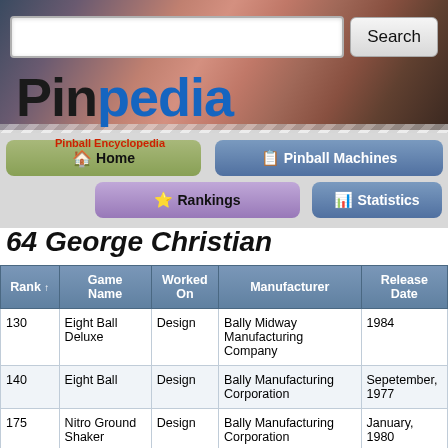[Figure (screenshot): Pinpedia website header with photo background, search bar, and navigation buttons for Home, Pinball Machines, Rankings, Statistics]
64 George Christian
| Rank | Game Name | Worked On | Manufacturer | Release Date |
| --- | --- | --- | --- | --- |
| 130 | Eight Ball Deluxe | Design | Bally Midway Manufacturing Company | 1984 |
| 140 | Eight Ball | Design | Bally Manufacturing Corporation | Sepetember, 1977 |
| 175 | Nitro Ground Shaker | Design | Bally Manufacturing Corporation | January, 1980 |
| 180 | Eight Ball Deluxe | Design | Bally Manufacturing Corporation | April, 1981 |